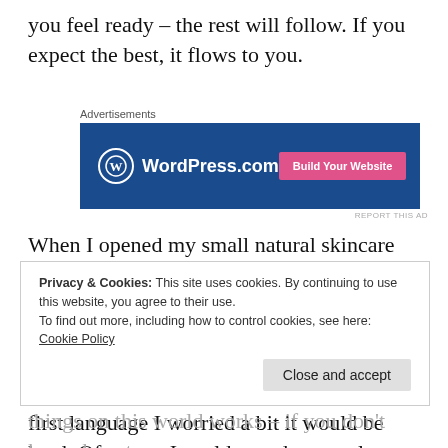you feel ready – the rest will follow. If you expect the best, it flows to you.
[Figure (other): WordPress.com advertisement banner with blue background, WordPress logo on the left, and a pink 'Build Your Website' button on the right.]
When I opened my small natural skincare company I had no freaking idea how should I do it. But I had that concept I loved and I've done it anyway – it was total improvisation, but it worked at the end! Same with this blog – as English is not my first language I worried a bit it would be hard. Of course I could spend a countless
Privacy & Cookies: This site uses cookies. By continuing to use this website, you agree to their use.
To find out more, including how to control cookies, see here: Cookie Policy
things on this world works – if you don't know how to